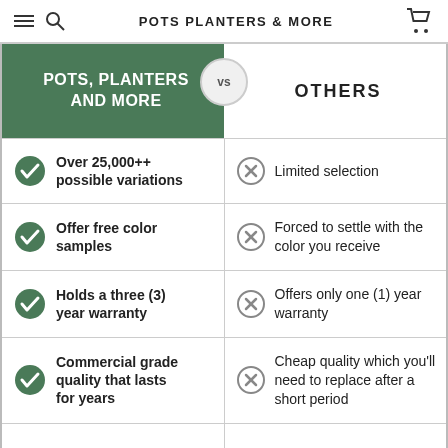POTS PLANTERS & MORE
| POTS, PLANTERS AND MORE | OTHERS |
| --- | --- |
| Over 25,000++ possible variations | Limited selection |
| Offer free color samples | Forced to settle with the color you receive |
| Holds a three (3) year warranty | Offers only one (1) year warranty |
| Commercial grade quality that lasts for years | Cheap quality which you'll need to replace after a short period |